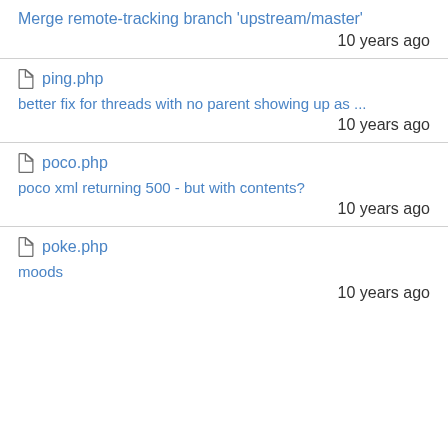Merge remote-tracking branch 'upstream/master'
10 years ago
ping.php
better fix for threads with no parent showing up as ...
10 years ago
poco.php
poco xml returning 500 - but with contents?
10 years ago
poke.php
moods
10 years ago